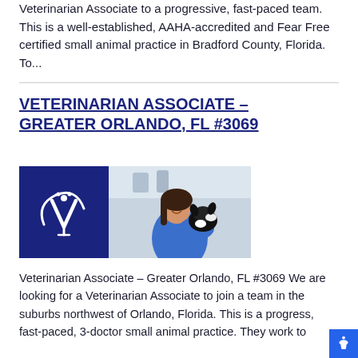Veterinarian Associate to a progressive, fast-paced team. This is a well-established, AAHA-accredited and Fear Free certified small animal practice in Bradford County, Florida. To...
VETERINARIAN ASSOCIATE – GREATER ORLANDO, FL #3069
[Figure (photo): Left: Dark navy blue square logo with a white veterinary symbol (stylized V with a paw print and curved line). Right: Photo of a smiling woman in blue scrubs holding a black and white puppy in a clinical setting.]
Veterinarian Associate – Greater Orlando, FL #3069 We are looking for a Veterinarian Associate to join a team in the suburbs northwest of Orlando, Florida. This is a progress, fast-paced, 3-doctor small animal practice. They work to